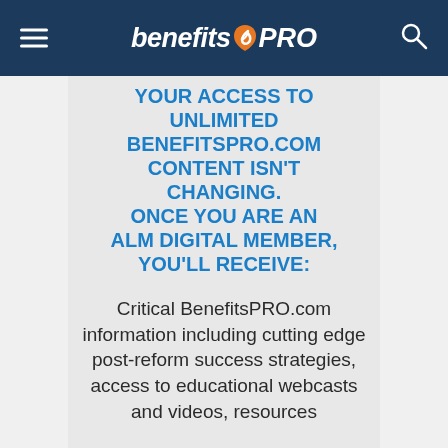BenefitsPRO
YOUR ACCESS TO UNLIMITED BENEFITSPRO.COM CONTENT ISN'T CHANGING. ONCE YOU ARE AN ALM DIGITAL MEMBER, YOU'LL RECEIVE:
Critical BenefitsPRO.com information including cutting edge post-reform success strategies, access to educational webcasts and videos, resources